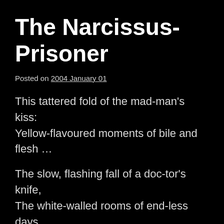The Narcissus-Prisoner
Posted on 2004 January 01
This tattered fold of the mad-man's kiss:
Yellow-flavoured moments of bile and flesh …
The slow, flashing fall of a doc-tor's knife,
The white-walled rooms of end-less days …
The tables by day with their